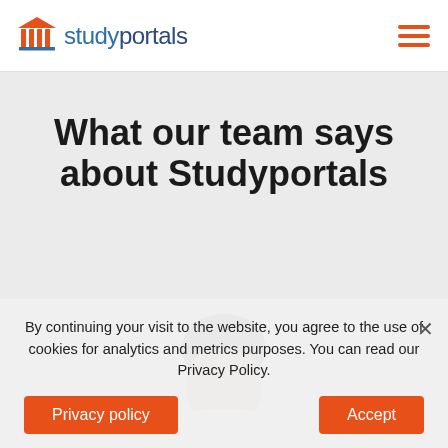studyportals
What our team says about Studyportals
[Figure (photo): Circular profile photo of a person, cropped at the bottom, showing the head and top of shoulders against a white circular background on a light grey page background.]
By continuing your visit to the website, you agree to the use of cookies for analytics and metrics purposes. You can read our Privacy Policy.
Privacy policy
Accept